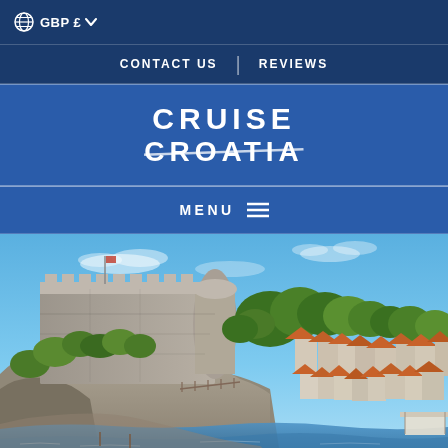GBP £
CONTACT US | REVIEWS
CRUISE CROATIA
MENU
[Figure (photo): Scenic view of Dubrovnik, Croatia, showing a large stone fortress on a rocky cliff with lush green trees and orange-roofed buildings below under a bright blue sky.]